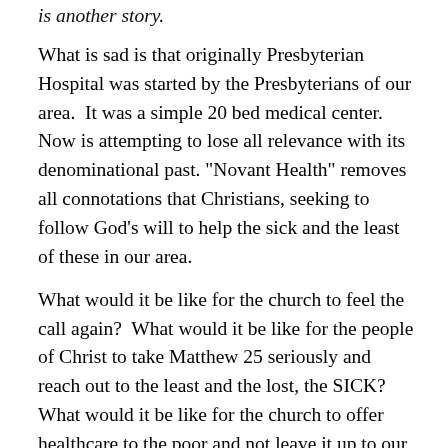is another story.
What is sad is that originally Presbyterian Hospital was started by the Presbyterians of our area.  It was a simple 20 bed medical center.  Now is attempting to lose all relevance with its denominational past. "Novant Health" removes all connotations that Christians, seeking to follow God's will to help the sick and the least of these in our area.
What would it be like for the church to feel the call again?  What would it be like for the people of Christ to take Matthew 25 seriously and reach out to the least and the lost, the SICK?  What would it be like for the church to offer healthcare to the poor and not leave it up to our government?